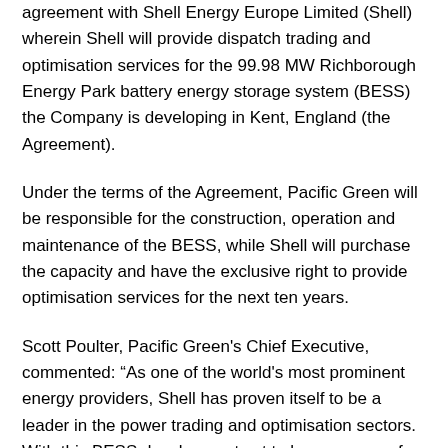agreement with Shell Energy Europe Limited (Shell) wherein Shell will provide dispatch trading and optimisation services for the 99.98 MW Richborough Energy Park battery energy storage system (BESS) the Company is developing in Kent, England (the Agreement).
Under the terms of the Agreement, Pacific Green will be responsible for the construction, operation and maintenance of the BESS, while Shell will purchase the capacity and have the exclusive right to provide optimisation services for the next ten years.
Scott Poulter, Pacific Green's Chief Executive, commented: “As one of the world's most prominent energy providers, Shell has proven itself to be a leader in the power trading and optimisation sectors. With this BESS development set to become one of the UK's largest batteries, finding an experienced and reputable optimizer is essential to the success of this project, and we are